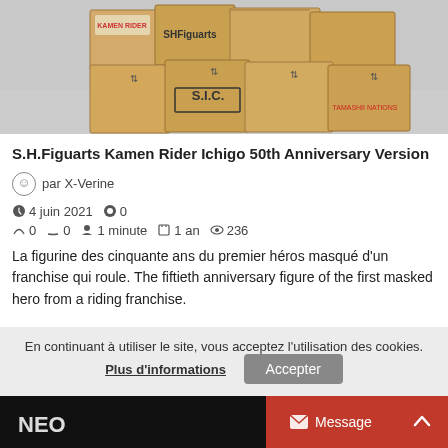[Figure (photo): Photo of multiple cardboard boxes with logos including SHFiguarts, S.I.C., and Tamashii Nations stacked on a reflective surface]
S.H.Figuarts Kamen Rider Ichigo 50th Anniversary Version
par X-Verine
4 juin 2021  0  0  0  1 minute  1 an  236
La figurine des cinquante ans du premier héros masqué d'un franchise qui roule. The fiftieth anniversary figure of the first masked hero from a riding franchise.
En continuant à utiliser le site, vous acceptez l'utilisation des cookies. Plus d'informations  Accepter